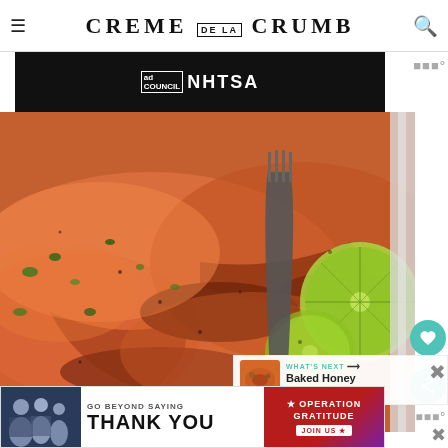CREME DE LA CRUMB
[Figure (screenshot): Ad banner with Ad Council and NHTSA logos on black background]
[Figure (photo): Close-up photo of baked/grilled salmon with herbs, lime slices, and a fork on foil]
WHAT'S NEXT → Baked Honey Lemon Garli...
[Figure (screenshot): GO BEYOND SAYING THANK YOU - Operation Gratitude JOIN US advertisement banner]